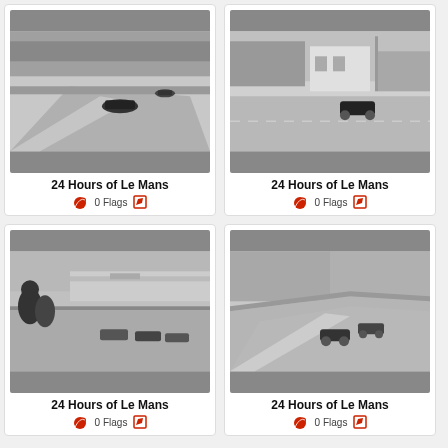[Figure (photo): Black and white photo of racing cars on a curved Le Mans track with trees in background]
24 Hours of Le Mans
0 Flags
[Figure (photo): Black and white photo of a racing car on Le Mans straight with house and trees in background]
24 Hours of Le Mans
0 Flags
[Figure (photo): Black and white photo of multiple racing cars at start/pit area with spectators]
24 Hours of Le Mans
0 Flags
[Figure (photo): Black and white photo of racing cars on curved Le Mans track with barriers and trees]
24 Hours of Le Mans
0 Flags